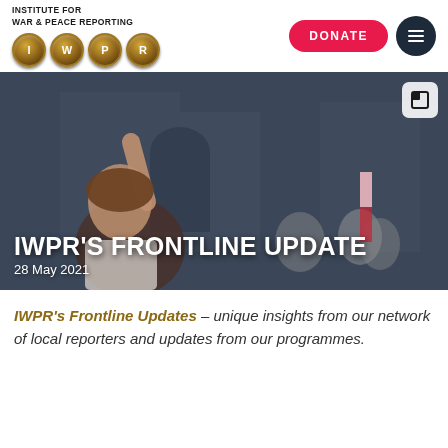INSTITUTE FOR WAR & PEACE REPORTING
[Figure (logo): IWPR logo with four gold circular coins showing letters I, W, P, R]
[Figure (photo): Photograph of a woman raising her fist at a protest, crowd wearing masks in the background, overlaid with text IWPR's Frontline Update and date 28 May 2021]
IWPR'S FRONTLINE UPDATE
28 May 2021
IWPR's Frontline Updates – unique insights from our network of local reporters and updates from our programmes.